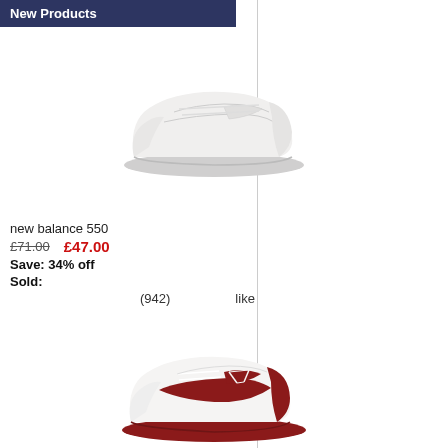New Products
[Figure (photo): White New Balance 550 sneaker, side view on white background]
new balance 550
£71.00   £47.00
Save: 34% off
Sold:
(942)    like
[Figure (photo): White and dark red New Balance 550 sneaker, side view on white background]